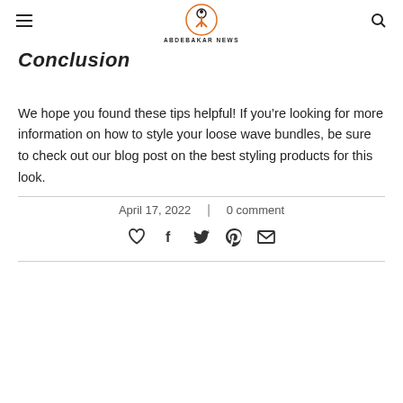ABDEBAKAR NEWS
Conclusion
We hope you found these tips helpful! If you’re looking for more information on how to style your loose wave bundles, be sure to check out our blog post on the best styling products for this look.
April 17, 2022  |  0 comment